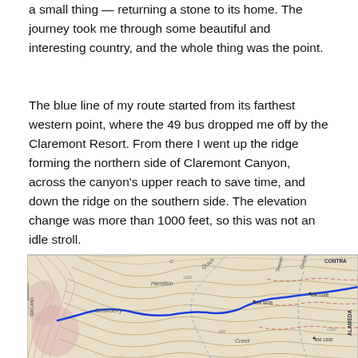a small thing — returning a stone to its home. The journey took me through some beautiful and interesting country, and the whole thing was the point.
The blue line of my route started from its farthest western point, where the 49 bus dropped me off by the Claremont Resort. From there I went up the ridge forming the northern side of Claremont Canyon, across the canyon's upper reach to save time, and down the ridge on the southern side. The elevation change was more than 1000 feet, so this was not an idle stroll.
[Figure (map): Topographic map showing Claremont Canyon area with a blue route line drawn over it. Map features include contour lines, labels for Strawberry, Hamilton, Quich, Creek, BM 1028, BM 1168, BM 1308, Canyon Radio, and partial text for CONTRA, ALAMEDA. The blue line traces a hiking route through the terrain.]